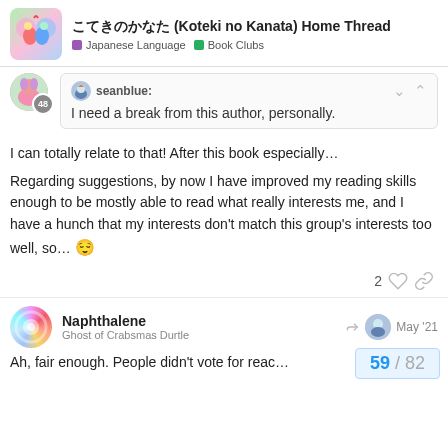こてきのかなた (Koteki no Kanata) Home Thread | Japanese Language | Book Clubs
[Figure (illustration): Anime-style comic book cover avatar with colorful characters]
seanblue: I need a break from this author, personally.
I can totally relate to that! After this book especially…
Regarding suggestions, by now I have improved my reading skills enough to be mostly able to read what really interests me, and I have a hunch that my interests don't match this group's interests too well, so… 😌
2 ♡ 🔗
Naphthalene
Ghost of Crabsmas Durtle
May '21
Ah, fair enough. People didn't vote for reac…
59 / 82